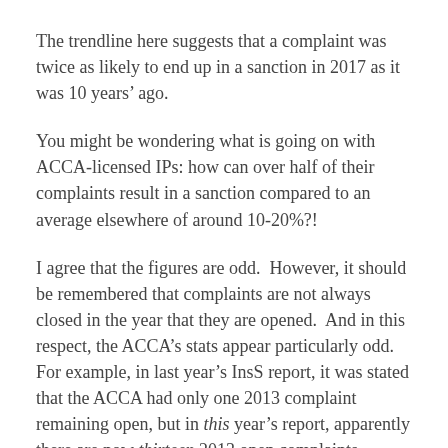The trendline here suggests that a complaint was twice as likely to end up in a sanction in 2017 as it was 10 years’ ago.
You might be wondering what is going on with ACCA-licensed IPs: how can over half of their complaints result in a sanction compared to an average elsewhere of around 10-20%?!
I agree that the figures are odd.  However, it should be remembered that complaints are not always closed in the year that they are opened.  And in this respect, the ACCA’s stats appear particularly odd.  For example, in last year’s InsS report, it was stated that the ACCA had only one 2013 complaint remaining open, but in this year’s report, apparently there are now thirteen 2013 open complaints against ACCA-licensed IPs!  The ACCA went through some enormous changes last year, as their complaints-handling and monitoring functions were taken over by the IPA with